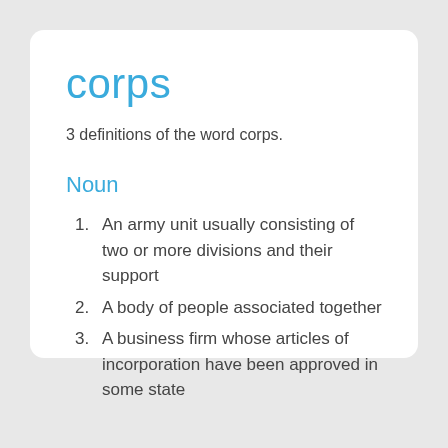corps
3 definitions of the word corps.
Noun
An army unit usually consisting of two or more divisions and their support
A body of people associated together
A business firm whose articles of incorporation have been approved in some state